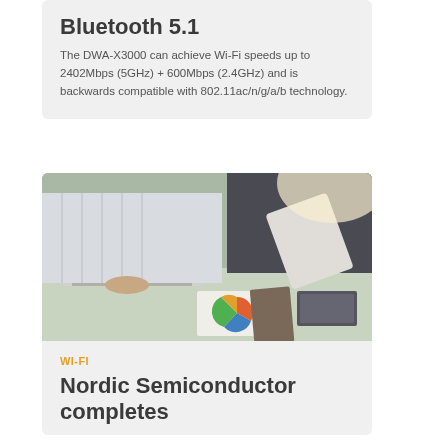Bluetooth 5.1
The DWA-X3000 can achieve Wi-Fi speeds up to 2402Mbps (5GHz) + 600Mbps (2.4GHz) and is backwards compatible with 802.11ac/n/g/a/b technology.
[Figure (photo): Two business people sitting at a desk; one typing on a laptop, another holding a tablet. Charts and documents on the desk.]
WI-FI
Nordic Semiconductor completes